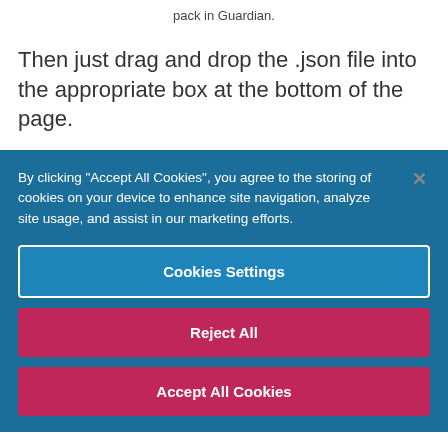pack in Guardian.
Then just drag and drop the .json file into the appropriate box at the bottom of the page.
By clicking "Accept All Cookies", you agree to the storing of cookies on your device to enhance site navigation, analyze site usage, and assist in our marketing efforts.
Cookies Settings
Reject All
Accept All Cookies